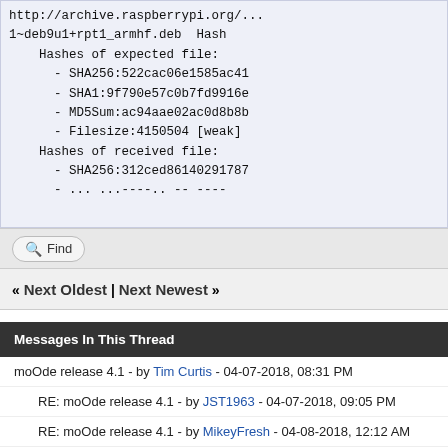http://archive.raspberrypi.org/...
1~deb9u1+rpt1_armhf.deb  Hash
    Hashes of expected file:
      - SHA256:522cac06e1585ac41
      - SHA1:9f790e57c0b7fd9916e
      - MD5Sum:ac94aae02ac0d8b8b
      - Filesize:4150504 [weak]
    Hashes of received file:
      - SHA256:312ced86140291787
      - ... ...----.. -- ----
Find
« Next Oldest | Next Newest »
Messages In This Thread
moOde release 4.1 - by Tim Curtis - 04-07-2018, 08:31 PM
RE: moOde release 4.1 - by JST1963 - 04-07-2018, 09:05 PM
RE: moOde release 4.1 - by MikeyFresh - 04-08-2018, 12:12 AM
RE: moOde release 4.1 - by Tim Curtis - 04-08-2018, 12:18 AM
RE: moOde release 4.1 - by vinboy - 04-12-2018, 08:33 AM